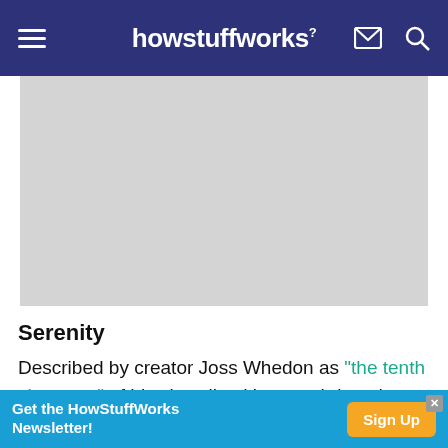howstuffworks
[Figure (other): Gray placeholder rectangle representing an advertisement or image]
Serenity
Described by creator Joss Whedon as "the tenth character" of his short-lived but much-loved science fiction series Firefly, Serenity is a firefly-class...
[Figure (infographic): Newsletter signup banner: Get the HowStuffWorks Newsletter! with Sign Up button]